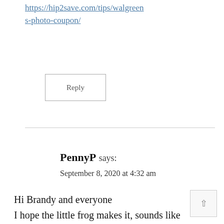https://hip2save.com/tips/walgreens-photo-coupon/
Reply
PennyP says:
September 8, 2020 at 4:32 am
Hi Brandy and everyone
I hope the little frog makes it, sounds like